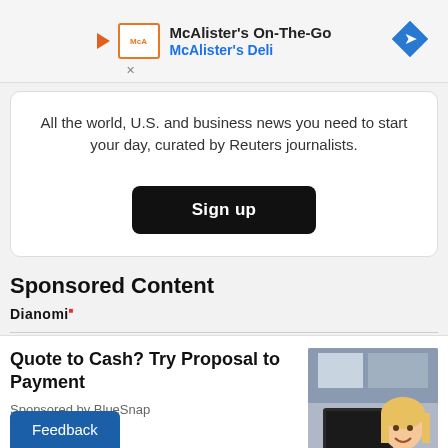[Figure (screenshot): McAlister's On-The-Go advertisement banner with McAlister's Deli logo, play button icon, and a blue navigation arrow icon on the right]
All the world, U.S. and business news you need to start your day, curated by Reuters journalists.
Sign up
Sponsored Content
[Figure (logo): Dianomi logo]
Quote to Cash? Try Proposal to Payment
Sponsored by BlueSnap
[Figure (photo): Woman with blonde hair smiling at a laptop in an office setting]
Feedback